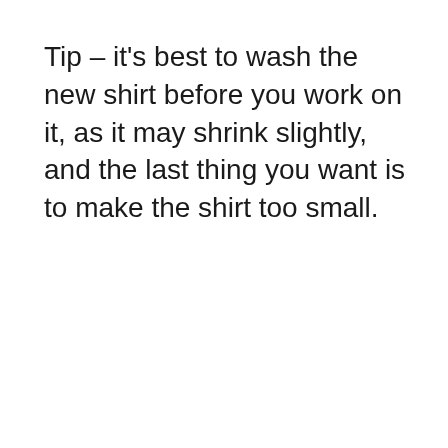Tip – it's best to wash the new shirt before you work on it, as it may shrink slightly, and the last thing you want is to make the shirt too small.